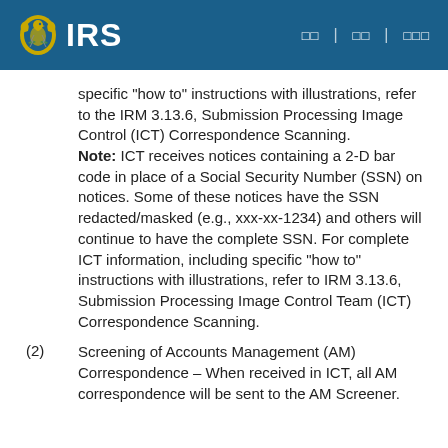IRS
specific "how to" instructions with illustrations, refer to the IRM 3.13.6, Submission Processing Image Control (ICT) Correspondence Scanning. Note: ICT receives notices containing a 2-D bar code in place of a Social Security Number (SSN) on notices. Some of these notices have the SSN redacted/masked (e.g., xxx-xx-1234) and others will continue to have the complete SSN. For complete ICT information, including specific "how to" instructions with illustrations, refer to IRM 3.13.6, Submission Processing Image Control Team (ICT) Correspondence Scanning.
(2) Screening of Accounts Management (AM) Correspondence – When received in ICT, all AM correspondence will be sent to the AM Screener.